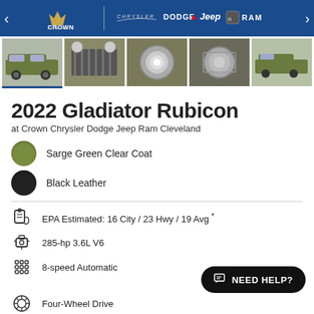[Figure (photo): Crown Chrysler Dodge Jeep Ram Cleveland dealer header banner with logos on blue background]
[Figure (photo): Row of 5 thumbnail photos of a 2022 Jeep Gladiator Rubicon in Sarge Green, showing exterior, grille, headlight, hood vent, and side views]
2022 Gladiator Rubicon
at Crown Chrysler Dodge Jeep Ram Cleveland
Sarge Green Clear Coat
Black Leather
EPA Estimated: 16 City / 23 Hwy / 19 Avg *
285-hp 3.6L V6
8-speed Automatic
Four-Wheel Drive